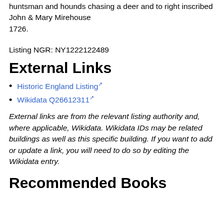huntsman and hounds chasing a deer and to right inscribed John & Mary Mirehouse 1726.
Listing NGR: NY1222122489
External Links
Historic England Listing
Wikidata Q26612311
External links are from the relevant listing authority and, where applicable, Wikidata. Wikidata IDs may be related buildings as well as this specific building. If you want to add or update a link, you will need to do so by editing the Wikidata entry.
Recommended Books